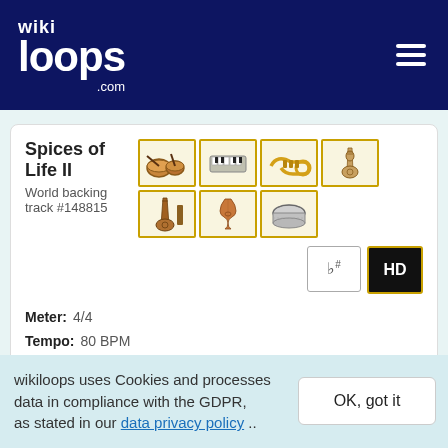wikiloops.com
Spices of Life II
World backing track #148815
Meter: 4/4
Tempo: 80 BPM
Musical key: G major
Pearle
World backing track #182942
wikiloops uses Cookies and processes data in compliance with the GDPR, as stated in our data privacy policy ..